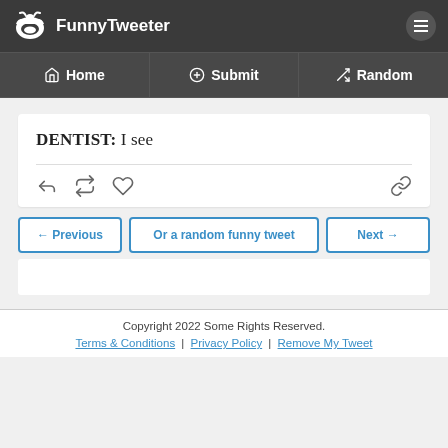FunnyTweeter
Home | Submit | Random
DENTIST: I see
← Previous | Or a random funny tweet | Next →
Copyright 2022 Some Rights Reserved. Terms & Conditions | Privacy Policy | Remove My Tweet